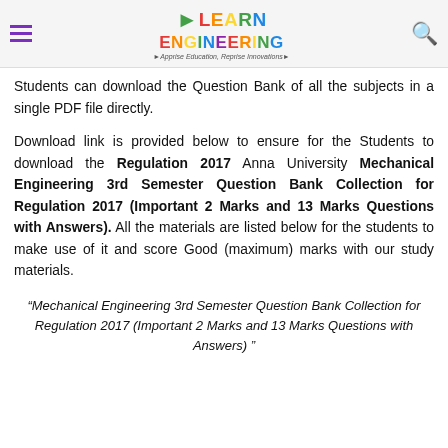Learn Engineering – Apprise Education, Reprise Innovations
Students can download the Question Bank of all the subjects in a single PDF file directly.
Download link is provided below to ensure for the Students to download the Regulation 2017 Anna University Mechanical Engineering 3rd Semester Question Bank Collection for Regulation 2017 (Important 2 Marks and 13 Marks Questions with Answers). All the materials are listed below for the students to make use of it and score Good (maximum) marks with our study materials.
“Mechanical Engineering 3rd Semester Question Bank Collection for Regulation 2017 (Important 2 Marks and 13 Marks Questions with Answers) ”